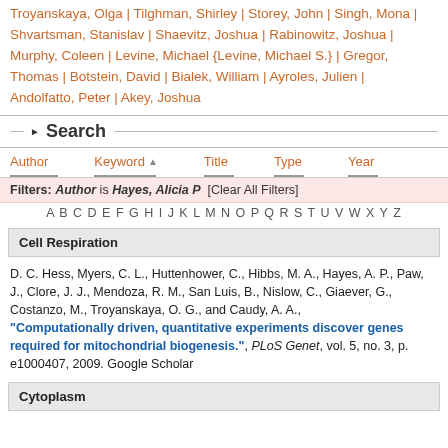Troyanskaya, Olga | Tilghman, Shirley | Storey, John | Singh, Mona | Shvartsman, Stanislav | Shaevitz, Joshua | Rabinowitz, Joshua | Murphy, Coleen | Levine, Michael {Levine, Michael S.} | Gregor, Thomas | Botstein, David | Bialek, William | Ayroles, Julien | Andolfatto, Peter | Akey, Joshua
Search
Author  Keyword  Title  Type  Year
Filters: Author is Hayes, Alicia P  [Clear All Filters]
A B C D E F G H I J K L M N O P Q R S T U V W X Y Z
Cell Respiration
D. C. Hess, Myers, C. L., Huttenhower, C., Hibbs, M. A., Hayes, A. P., Paw, J., Clore, J. J., Mendoza, R. M., San Luis, B., Nislow, C., Giaever, G., Costanzo, M., Troyanskaya, O. G., and Caudy, A. A., "Computationally driven, quantitative experiments discover genes required for mitochondrial biogenesis.", PLoS Genet, vol. 5, no. 3, p. e1000407, 2009. Google Scholar
Cytoplasm